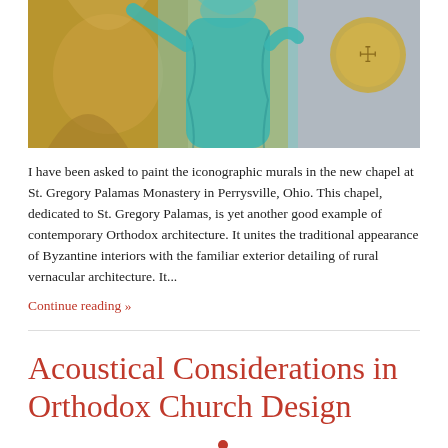[Figure (photo): A person wearing a teal/turquoise garment standing in front of a large Byzantine-style iconographic mural with golden and blue tones]
I have been asked to paint the iconographic murals in the new chapel at St. Gregory Palamas Monastery in Perrysville, Ohio. This chapel, dedicated to St. Gregory Palamas, is yet another good example of contemporary Orthodox architecture. It unites the traditional appearance of Byzantine interiors with the familiar exterior detailing of rural vernacular architecture. It...
Continue reading »
Acoustical Considerations in Orthodox Church Design